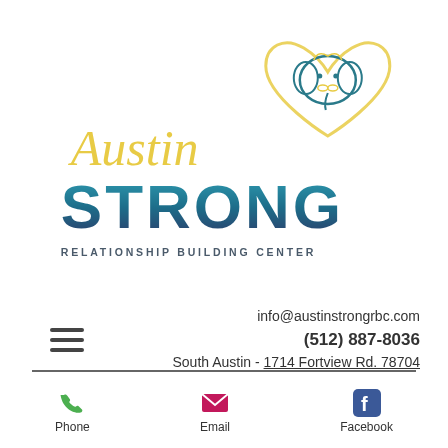[Figure (logo): Austin Strong Relationship Building Center logo with elephant heart graphic, yellow cursive 'Austin' text, teal bold 'STRONG' text, and 'RELATIONSHIP BUILDING CENTER' subtitle]
info@austinstrongrbc.com
(512) 887-8036
South Austin - 1714 Fortview Rd. 78704
[Figure (infographic): Three social media icons: YouTube (red play button), Instagram (gradient camera), Facebook (blue F icon, partially cut off)]
[Figure (infographic): Bottom navigation bar with Phone (green handset icon), Email (pink envelope icon), Facebook (blue F icon) links]